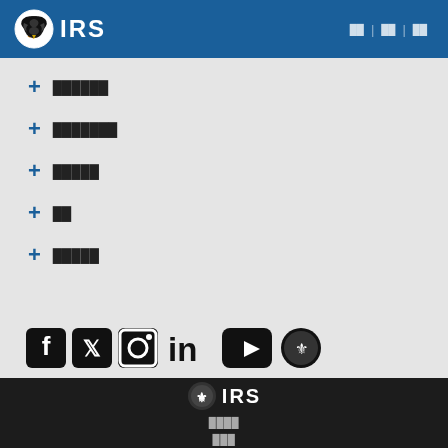IRS
+ ██████
+ ███████
+ █████
+ ██
+ █████
[Figure (logo): Social media icons: Facebook, Twitter, Instagram, LinkedIn, YouTube, IRS seal]
IRS — ████████ — ███
[Figure (logo): IRS logo in footer (white on dark background)]